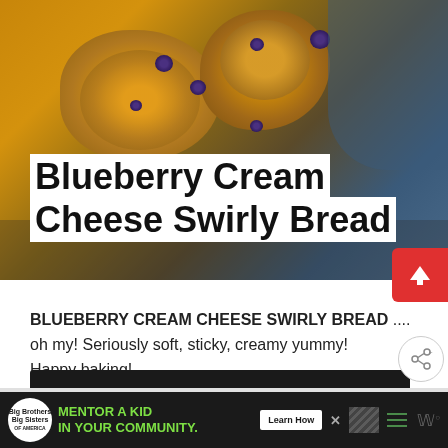[Figure (photo): Photo of blueberry cream cheese swirly bread rolls with visible blueberries on top, golden-brown pastry swirls on a dark background]
Blueberry Cream Cheese Swirly Bread
BLUEBERRY CREAM CHEESE SWIRLY BREAD .... oh my! Seriously soft, sticky, creamy yummy! Happy baking!
Continue Reading
[Figure (other): What's Next section showing Traditional Homemade... with food thumbnail]
[Figure (other): Advertisement banner: Big Brothers Big Sisters - MENTOR A KID IN YOUR COMMUNITY. Learn How button]